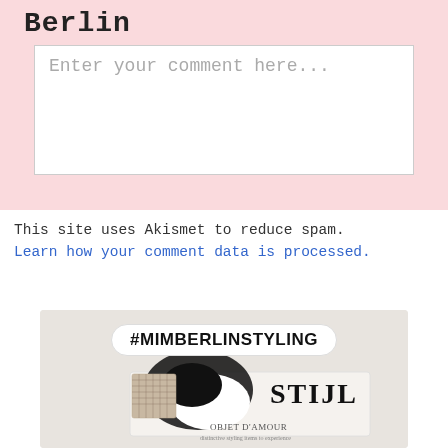Berlin
Enter your comment here...
This site uses Akismet to reduce spam. Learn how your comment data is processed.
[Figure (photo): Instagram-style photo with #MIMBERLINSTYLING hashtag pill overlaid on top, showing fashion/styling items including shoes and a magazine titled 'STIJL' with text 'OBJET D'AMOUR' below on a beige/cream background.]